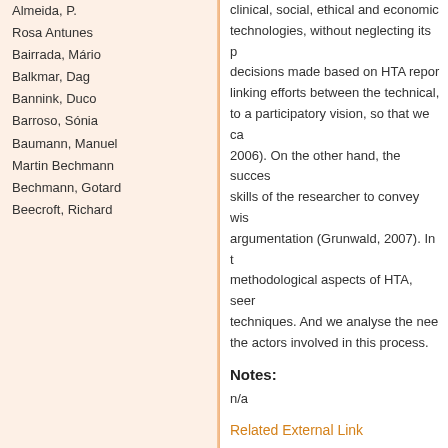Almeida, P.
Rosa Antunes
Bairrada, Mário
Balkmar, Dag
Bannink, Duco
Barroso, Sónia
Baumann, Manuel
Martin Bechmann
Bechmann, Gotard
Beecroft, Richard
clinical, social, ethical and economic technologies, without neglecting its p decisions made based on HTA repor linking efforts between the technical, to a participatory vision, so that we c 2006). On the other hand, the succes skills of the researcher to convey wis argumentation (Grunwald, 2007). In t methodological aspects of HTA, seer techniques. And we analyse the need the actors involved in this process.
Notes:
n/a
Related External Link